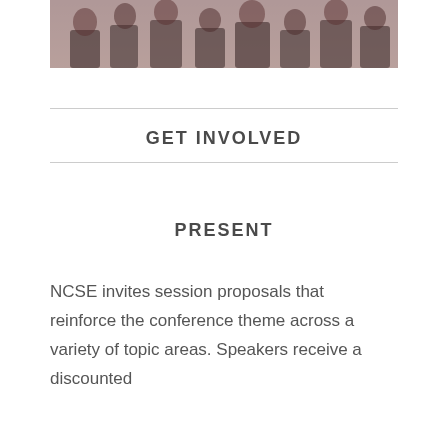[Figure (photo): A photograph of people seated in chairs at what appears to be a conference or meeting room setting, partially cropped at the top of the page.]
GET INVOLVED
PRESENT
NCSE invites session proposals that reinforce the conference theme across a variety of topic areas. Speakers receive a discounted